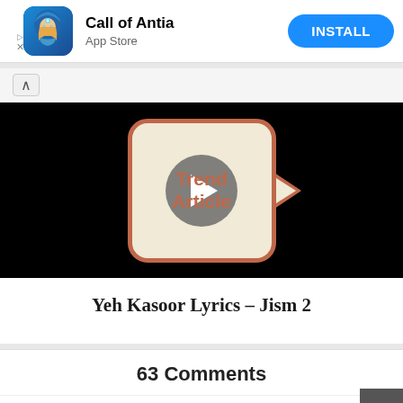[Figure (screenshot): App Store advertisement banner for 'Call of Antia' with app icon, title, subtitle 'App Store', and a blue INSTALL button]
[Figure (screenshot): Video thumbnail with black background showing a 'Read Article' speech bubble with play button overlay]
Yeh Kasoor Lyrics – Jism 2
63 Comments
1  2  3  Next » >